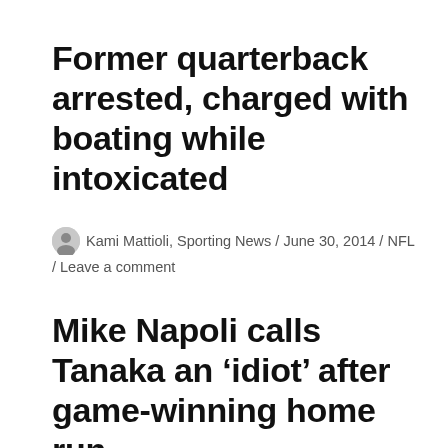Former quarterback arrested, charged with boating while intoxicated
Kami Mattioli, Sporting News / June 30, 2014 / NFL / Leave a comment
Mike Napoli calls Tanaka an ‘idiot’ after game-winning home run